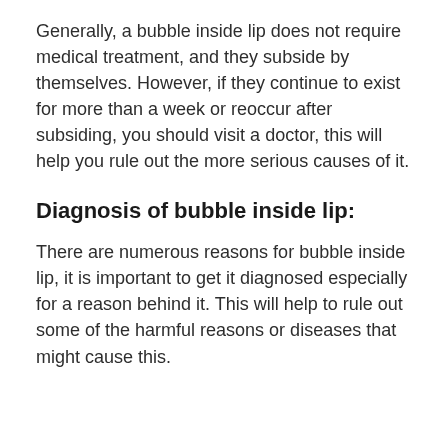Generally, a bubble inside lip does not require medical treatment, and they subside by themselves. However, if they continue to exist for more than a week or reoccur after subsiding, you should visit a doctor, this will help you rule out the more serious causes of it.
Diagnosis of bubble inside lip:
There are numerous reasons for bubble inside lip, it is important to get it diagnosed especially for a reason behind it. This will help to rule out some of the harmful reasons or diseases that might cause this.